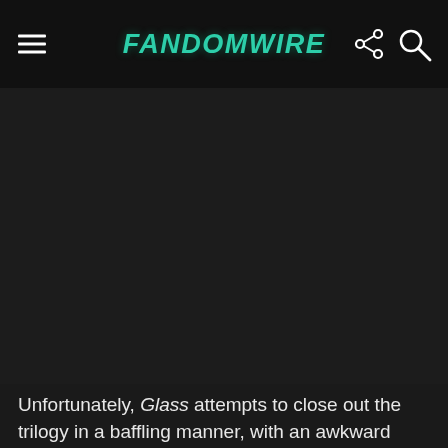FandomWire
[Figure (photo): Dark/black image area, appears to be a movie still or promotional image that is largely dark/obscured]
Unfortunately, Glass attempts to close out the trilogy in a baffling manner, with an awkward story